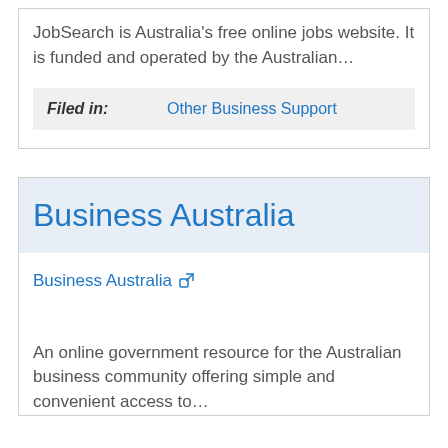JobSearch is Australia's free online jobs website. It is funded and operated by the Australian…
Filed in: Other Business Support
Business Australia
Business Australia ↗
An online government resource for the Australian business community offering simple and convenient access to…